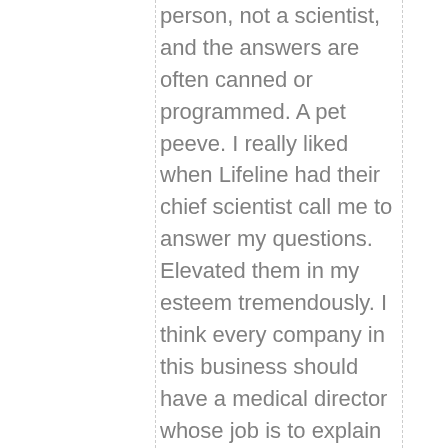person, not a scientist, and the answers are often canned or programmed. A pet peeve. I really liked when Lifeline had their chief scientist call me to answer my questions. Elevated them in my esteem tremendously. I think every company in this business should have a medical director whose job is to explain the science but without marketing fluff.
I frequent some of the online forms for chatting about this stuff, not so much to talk about our products, but about the science, and some basic education, and to further the “truth matters” mission that started this blog. I find myself often to be the target of much mistrust, vitriol, and downright rudeness. Maybe that’s